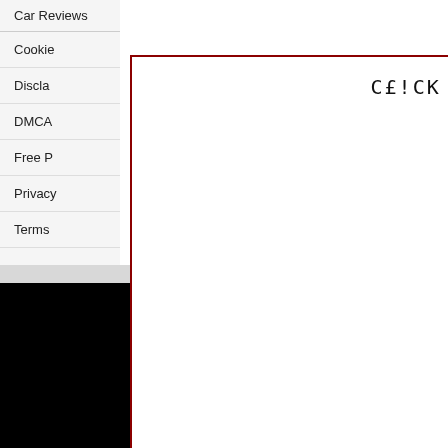Car Reviews
Cookie
Discla
DMCA
Free P
Privacy
Terms
[Figure (screenshot): Modal overlay with red border containing the text 'CE!CK !M4GE TO CE0$E' in monospace font, displayed over a white background. Below the modal is a black footer band.]